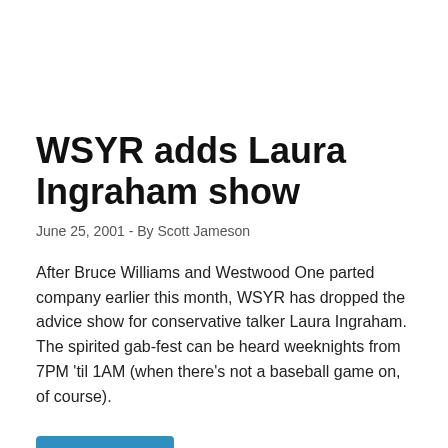WSYR adds Laura Ingraham show
June 25, 2001 - By Scott Jameson
After Bruce Williams and Westwood One parted company earlier this month, WSYR has dropped the advice show for conservative talker Laura Ingraham. The spirited gab-fest can be heard weeknights from 7PM 'til 1AM (when there's not a baseball game on, of course).
Read More